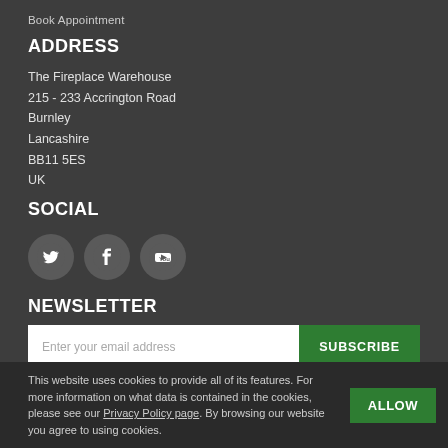Book Appointment
ADDRESS
The Fireplace Warehouse
215 - 233 Accrington Road
Burnley
Lancashire
BB11 5ES
UK
SOCIAL
[Figure (other): Three social media icon buttons: Twitter (bird icon), Facebook (f icon), YouTube (play button icon), all circular grey buttons]
NEWSLETTER
Enter your email address [input field] SUBSCRIBE button
Subscribe to our free e-newsletter
[Figure (other): Payment method icons: PayPal, Visa, Mastercard, Maestro]
Copyright 2005-present The Fireplace Warehouse, Inc. All rights reserved.
This website uses cookies to provide all of its features. For more information on what data is contained in the cookies, please see our Privacy Policy page. By browsing our website you agree to using cookies.